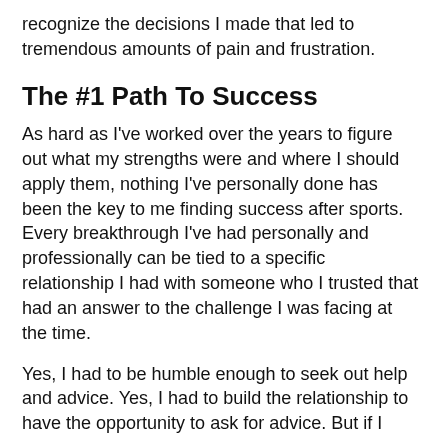recognize the decisions I made that led to tremendous amounts of pain and frustration.
The #1 Path To Success
As hard as I've worked over the years to figure out what my strengths were and where I should apply them, nothing I've personally done has been the key to me finding success after sports. Every breakthrough I've had personally and professionally can be tied to a specific relationship I had with someone who I trusted that had an answer to the challenge I was facing at the time.
Yes, I had to be humble enough to seek out help and advice. Yes, I had to build the relationship to have the opportunity to ask for advice. But if I